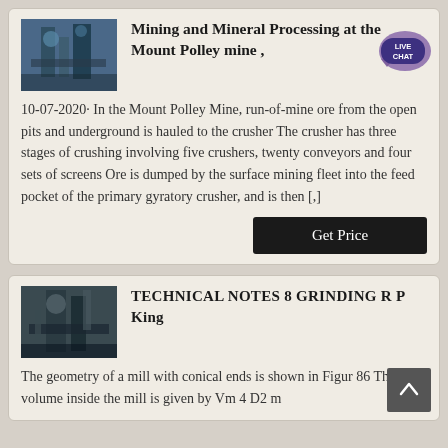[Figure (photo): Industrial mining/processing equipment photo for Mount Polley mine]
Mining and Mineral Processing at the Mount Polley mine ,
10-07-2020· In the Mount Polley Mine, run-of-mine ore from the open pits and underground is hauled to the crusher The crusher has three stages of crushing involving five crushers, twenty conveyors and four sets of screens Ore is dumped by the surface mining fleet into the feed pocket of the primary gyratory crusher, and is then [,]
[Figure (photo): Industrial mill/grinding equipment photo]
TECHNICAL NOTES 8 GRINDING R P King
The geometry of a mill with conical ends is shown in Figur 86 The total volume inside the mill is given by Vm 4 D2 m